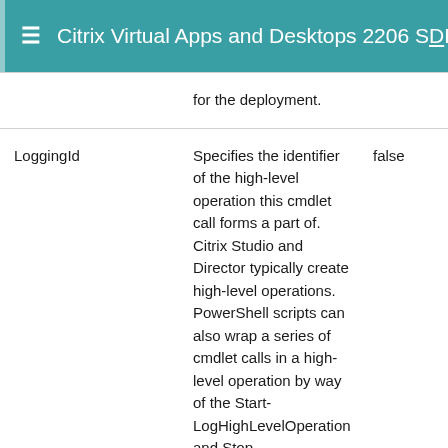Citrix Virtual Apps and Desktops 2206 SDK D
| Parameter | Description | Required |
| --- | --- | --- |
|  | for the deployment. |  |
| LoggingId | Specifies the identifier of the high-level operation this cmdlet call forms a part of. Citrix Studio and Director typically create high-level operations. PowerShell scripts can also wrap a series of cmdlet calls in a high-level operation by way of the Start-LogHighLevelOperation and Stop-LogHighLevelOperation cmdlets. | false |